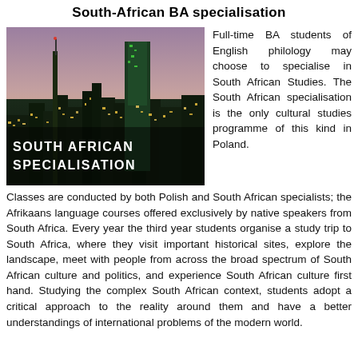South-African BA specialisation
[Figure (photo): Nighttime skyline of Johannesburg with city lights and tall buildings; text overlay reads SOUTH AFRICAN SPECIALISATION]
Full-time BA students of English philology may choose to specialise in South African Studies. The South African specialisation is the only cultural studies programme of this kind in Poland. Classes are conducted by both Polish and South African specialists; the Afrikaans language courses offered exclusively by native speakers from South Africa. Every year the third year students organise a study trip to South Africa, where they visit important historical sites, explore the landscape, meet with people from across the broad spectrum of South African culture and politics, and experience South African culture first hand. Studying the complex South African context, students adopt a critical approach to the reality around them and have a better understandings of international problems of the modern world.